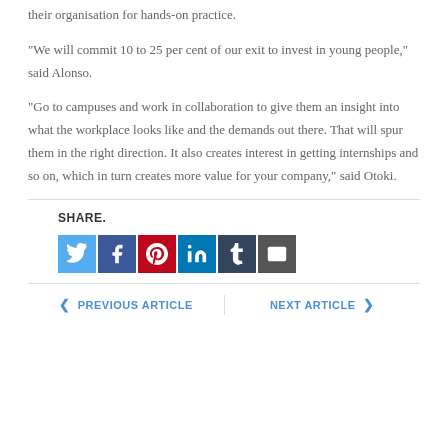their organisation for hands-on practice.
“We will commit 10 to 25 per cent of our exit to invest in young people,” said Alonso.
“Go to campuses and work in collaboration to give them an insight into what the workplace looks like and the demands out there. That will spur them in the right direction. It also creates interest in getting internships and so on, which in turn creates more value for your company,” said Otoki.
SHARE.
[Figure (infographic): Social sharing icons: Twitter (blue), Facebook (dark blue), Pinterest (red), LinkedIn (blue), Tumblr (dark), Email (grey)]
PREVIOUS ARTICLE   NEXT ARTICLE